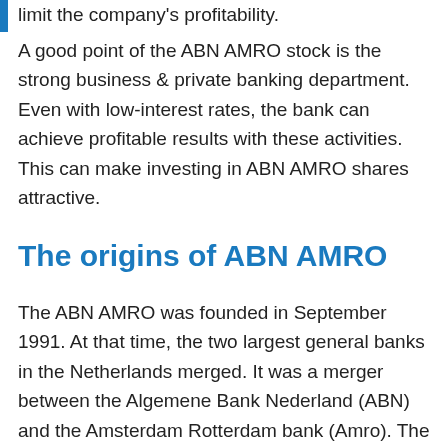limit the company's profitability.
A good point of the ABN AMRO stock is the strong business & private banking department. Even with low-interest rates, the bank can achieve profitable results with these activities. This can make investing in ABN AMRO shares attractive.
The origins of ABN AMRO
The ABN AMRO was founded in September 1991. At that time, the two largest general banks in the Netherlands merged. It was a merger between the Algemene Bank Nederland (ABN) and the Amsterdam Rotterdam bank (Amro). The motives for merging were economies of scale and